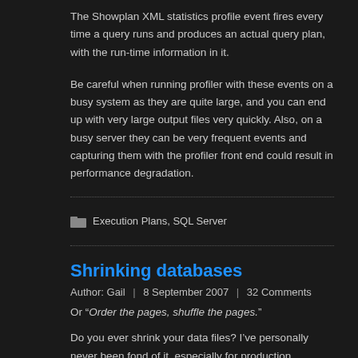The Showplan XML statistics profile event fires every time a query runs and produces an actual query plan, with the run-time information in it.
Be careful when running profiler with these events on a busy system as they are quite large, and you can end up with very large output files very quickly. Also, on a busy server they can be very frequent events and capturing them with the profiler front end could result in performance degradation.
Execution Plans, SQL Server
Shrinking databases
Author: Gail  |  8 September 2007  |  32 Comments
Or “Order the pages, shuffle the pages.”
Do you ever shrink your data files? I’ve personally never been fond of it, especially for production databases. After all, they’ll